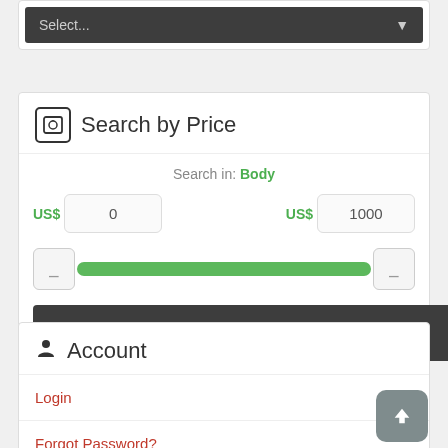[Figure (screenshot): Dropdown select input with dark background showing 'Select...' placeholder and dropdown arrow]
Search by Price
Search in: Body
US$ 0   US$ 1000
[Figure (other): Range slider with green track, two thumb handles, spanning from 0 to 1000]
Search
Account
Login
Forgot Password?